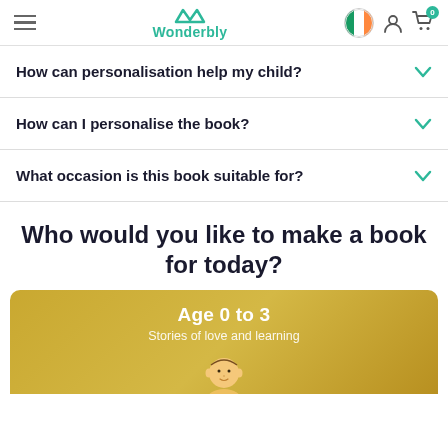Wonderbly — navigation header with hamburger menu, logo, country flag (Ireland), user icon, cart icon
How can personalisation help my child?
How can I personalise the book?
What occasion is this book suitable for?
Who would you like to make a book for today?
[Figure (photo): Golden/yellow banner card showing 'Age 0 to 3' heading, subtitle 'Stories of love and learning', and a baby/toddler photo at the bottom]